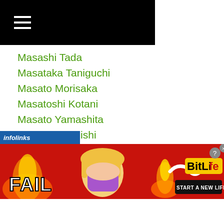[Figure (screenshot): Black header bar with white hamburger menu icon]
Masashi Tada
Masataka Taniguchi
Masato Morisaka
Masatoshi Kotani
Masato Yamashita
Masaya Motoishi
Masayasu Nakamura
Masaya Tamayama
Masayoshi Hashizume
Masayoshi Kotake
Masayoshi Nakatani
Masayuki Ito
Masayuki Kuroda
[Figure (screenshot): infolinks ad banner - BitLife START A NEW LIFE advertisement with FAIL text, animated character, fire, and sperm cell graphic on red background]